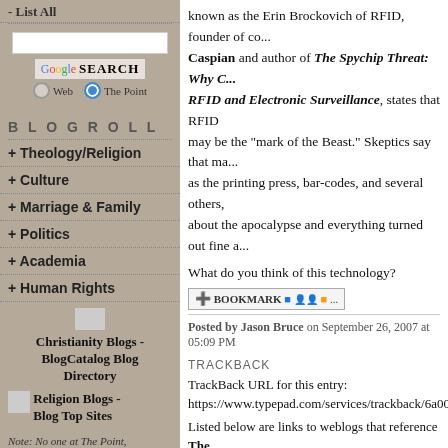- List All
[Figure (other): Google search box with Web and The Point radio buttons]
BLOGROLL
+ Theology/Religion
+ Culture
+ Marriage & Family
+ Politics
+ Academia
+ Human Rights
[Figure (other): Christianity Blogs - BlogCatalog Blog Directory badge]
[Figure (other): Religion Blogs - Blog Top Sites badge]
Note: No one at The Point, BreakPoint Online, or Prison Fellowship is responsible for the content of any of the blogs listed above, except where noted. A blog's
known as the Erin Brockovich of RFID, founder of co... Caspian and author of The Spychip Threat: Why C... RFID and Electronic Surveillance, states that RFID may be the "mark of the Beast." Skeptics say that ma... as the printing press, bar-codes, and several others, about the apocalypse and everything turned out fine a...
What do you think of this technology?
[Figure (other): Bookmark button]
Posted by Jason Bruce on September 26, 2007 at 05:09 PM
TRACKBACK
TrackBack URL for this entry:
https://www.typepad.com/services/trackback/6a00d83...
Listed below are links to weblogs that reference The
COMMENTS
When it comes to technology like this, I m... of my YWAM School of Biblical Studies s... in Uganda, and he said that a mark of the... global phenomenon. However, things like... applicable to villagers still bartering for...